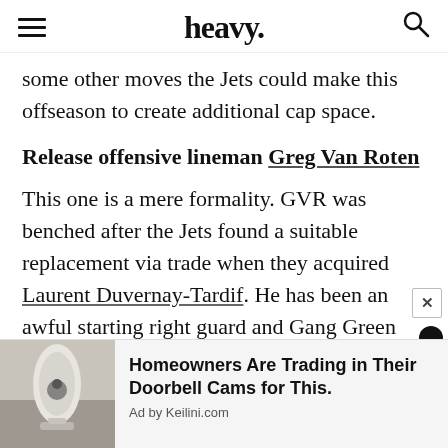heavy.
some other moves the Jets could make this offseason to create additional cap space.
Release offensive lineman Greg Van Roten
This one is a mere formality. GVR was benched after the Jets found a suitable replacement via trade when they acquired Laurent Duvernay-Tardif. He has been an awful starting right guard and Gang Green will assuredly part ways this offseason
[Figure (photo): Hand holding a white security camera device]
Homeowners Are Trading in Their Doorbell Cams for This. Ad by Keilini.com